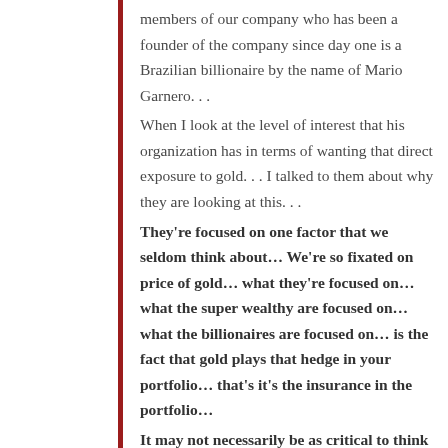members of our company who has been a founder of the company since day one is a Brazilian billionaire by the name of Mario Garnero. . .
When I look at the level of interest that his organization has in terms of wanting that direct exposure to gold. . . I talked to them about why they are looking at this. . .
They're focused on one factor that we seldom think about… We're so fixated on price of gold… what they're focused on… what the super wealthy are focused on… what the billionaires are focused on… is the fact that gold plays that hedge in your portfolio… that's it's the insurance in the portfolio…
It may not necessarily be as critical to think